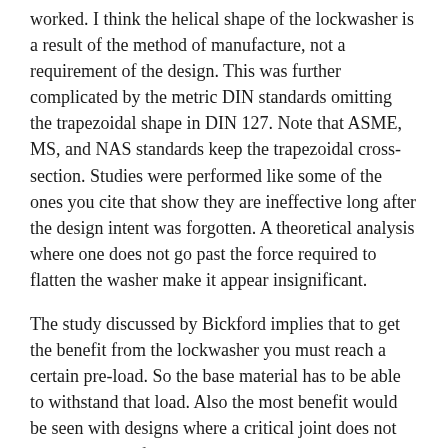worked. I think the helical shape of the lockwasher is a result of the method of manufacture, not a requirement of the design. This was further complicated by the metric DIN standards omitting the trapezoidal shape in DIN 127. Note that ASME, MS, and NAS standards keep the trapezoidal cross-section. Studies were performed like some of the ones you cite that show they are ineffective long after the design intent was forgotten. A theoretical analysis where one does not go past the force required to flatten the washer make it appear insignificant.
The study discussed by Bickford implies that to get the benefit from the lockwasher you must reach a certain pre-load. So the base material has to be able to withstand that load. Also the most benefit would be seen with designs where a critical joint does not have the space for a long shank bolt or screw. So they are not the best and for every application. But they are not useless either.
Like